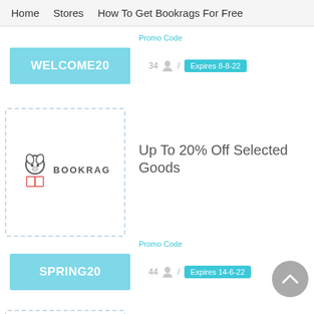Home   Stores   How To Get Bookrags For Free
Promo Code
WELCOME20
34  /  Expires 8-8-22
[Figure (logo): BookRags logo with dog and open book icon and BOOKRAGS text]
Up To 20% Off Selected Goods
Promo Code
SPRING20
44  /  Expires 14-6-22